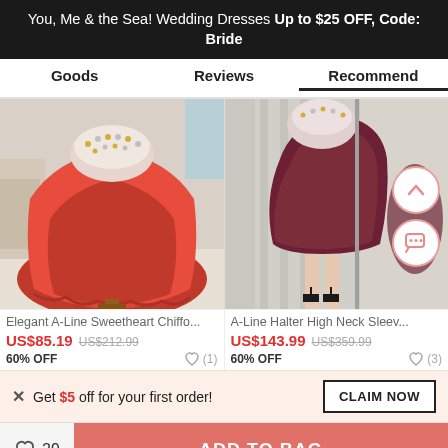You, Me & the Sea! Wedding Dresses Up to $25 OFF, Code: Bride
Goods
Reviews
Recommend
[Figure (photo): Red A-Line sweetheart chiffon prom dress with beaded neckline, floor-length skirt]
[Figure (photo): Dark burgundy/wine A-Line halter high neck sleeveless short dress, model wearing it in front of mirror]
Elegant A-Line Sweetheart Chiffo...
US$85.19  US$212.99
60% OFF
A-Line Halter High Neck Sleev...
US$143.99  US$359.99
60% OFF
Get $5 off for your first order!
CLAIM NOW
29  ADD TO BAG